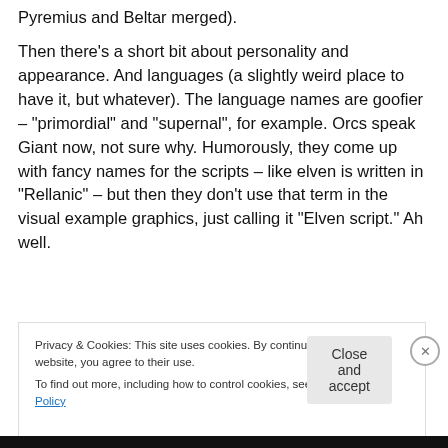Pyremius and Beltar merged).
Then there’s a short bit about personality and appearance. And languages (a slightly weird place to have it, but whatever). The language names are goofier – “primordial” and “supernal”, for example. Orcs speak Giant now, not sure why. Humorously, they come up with fancy names for the scripts – like elven is written in “Rellanic” – but then they don’t use that term in the visual example graphics, just calling it “Elven script.” Ah well.
[Figure (screenshot): Partial screenshot of a dark-background image with a pink/magenta bar and a light circle, partially obscured by cookie consent banner.]
Privacy & Cookies: This site uses cookies. By continuing to use this website, you agree to their use.
To find out more, including how to control cookies, see here: Cookie Policy
Close and accept